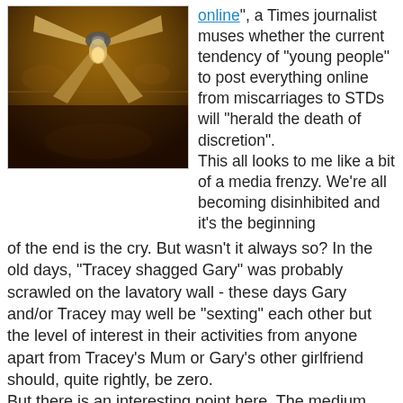[Figure (photo): A dark, warm-toned photo of a ceiling fan with wooden blades, photographed from below against a ceiling with ambient room lighting.]
online", a Times journalist muses whether the current tendency of "young people" to post everything online from miscarriages to STDs will "herald the death of discretion".
This all looks to me like a bit of a media frenzy. We're all becoming disinhibited and it's the beginning of the end is the cry. But wasn't it always so? In the old days, "Tracey shagged Gary" was probably scrawled on the lavatory wall - these days Gary and/or Tracey may well be "sexting" each other but the level of interest in their activities from anyone apart from Tracey's Mum or Gary's other girlfriend should, quite rightly, be zero.
But there is an interesting point here. The medium has changed and for those of us who spent our teenage/early 20s years pre-mobile, pre-internet, pre-texting, who remember standing outside pee-smelling telephone boxes with our collection of 2p pieces, sticking notes on doors or even writing letters, some of this behaviour may seem odd. Some people of a certain age that I know have adapted very